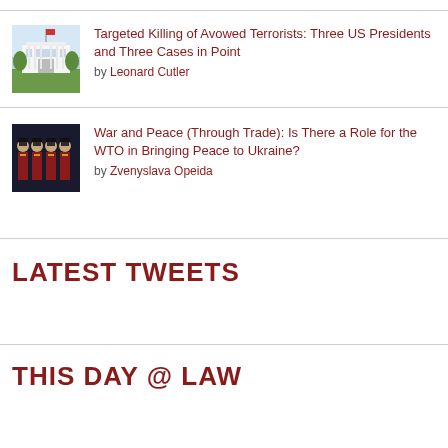[Figure (photo): White House building, exterior photo, thumbnail]
Targeted Killing of Avowed Terrorists: Three US Presidents and Three Cases in Point
by Leonard Cutler
[Figure (photo): Military soldiers in red uniform with hats, thumbnail]
War and Peace (Through Trade): Is There a Role for the WTO in Bringing Peace to Ukraine?
by Zvenyslava Opeida
LATEST TWEETS
THIS DAY @ LAW